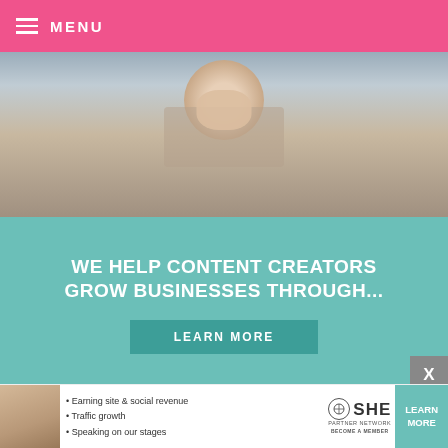≡ MENU
[Figure (screenshot): Advertisement banner showing woman with laptop, teal background with text 'WE HELP CONTENT CREATORS GROW BUSINESSES THROUGH...' and a 'LEARN MORE' button]
This is Edible Greet[ings — sugar highlights].
[Figure (screenshot): Partial photo visible at bottom left of page]
[Figure (screenshot): Video player overlay showing loading spinner, timestamp 13:52, CC, grid and fullscreen controls]
[Figure (screenshot): Bottom advertisement banner for SHE Partner Network with bullets: Earning site & social revenue, Traffic growth, Speaking on our stages, with LEARN MORE button and BECOME A MEMBER text]